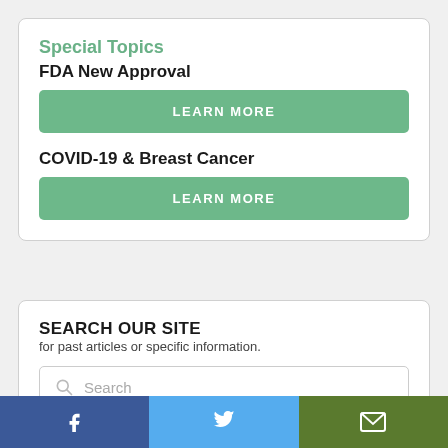Special Topics
FDA New Approval
LEARN MORE
COVID-19 & Breast Cancer
LEARN MORE
SEARCH OUR SITE
for past articles or specific information.
Search